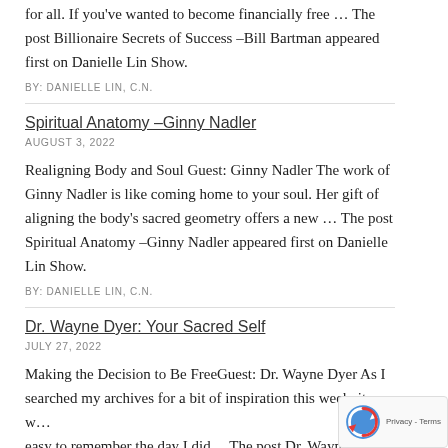for all. If you've wanted to become financially free … The post Billionaire Secrets of Success –Bill Bartman appeared first on Danielle Lin Show.
BY: DANIELLE LIN, C.N.
Spiritual Anatomy –Ginny Nadler
AUGUST 3, 2022
Realigning Body and Soul Guest: Ginny Nadler The work of Ginny Nadler is like coming home to your soul. Her gift of aligning the body's sacred geometry offers a new … The post Spiritual Anatomy –Ginny Nadler appeared first on Danielle Lin Show.
BY: DANIELLE LIN, C.N.
Dr. Wayne Dyer: Your Sacred Self
JULY 27, 2022
Making the Decision to Be FreeGuest: Dr. Wayne Dyer As I searched my archives for a bit of inspiration this week, it w… easy to remember the day I did… The post Dr. Wayne Dyer: Your